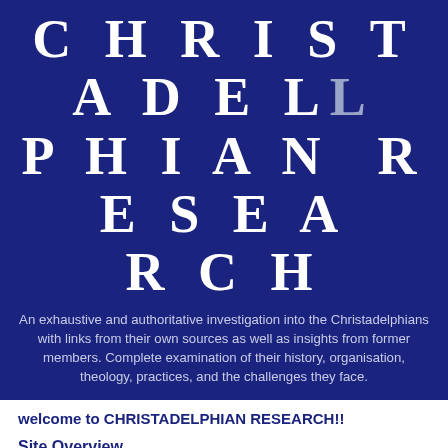CHRISTADELPHIAN RESEARCH
An exhaustive and authoritative investigation into the Christadelphians with links from their own sources as well as insights from former members. Complete examination of their history, organisation, theology, practices, and the challenges they face.
welcome to CHRISTADELPHIAN RESEARCH!!
Site Overview
[Figure (photo): Photograph of a stone building (likely a Christadelphian meeting hall) with a blue sky and clouds in the background.]